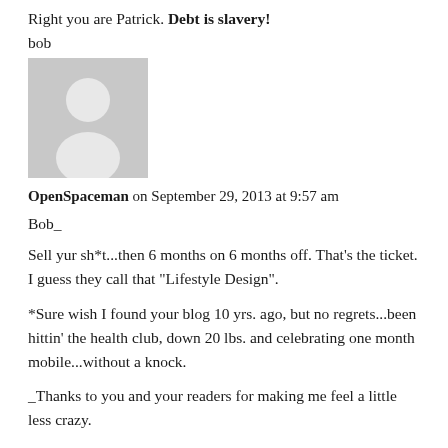Right you are Patrick. Debt is slavery!
bob
[Figure (illustration): Default avatar placeholder image — grey silhouette of a person on grey background]
OpenSpaceman on September 29, 2013 at 9:57 am
Bob_
Sell yur sh*t...then 6 months on 6 months off. That's the ticket. I guess they call that "Lifestyle Design".
*Sure wish I found your blog 10 yrs. ago, but no regrets...been hittin' the health club, down 20 lbs. and celebrating one month mobile...without a knock.
_Thanks to you and your readers for making me feel a little less crazy.